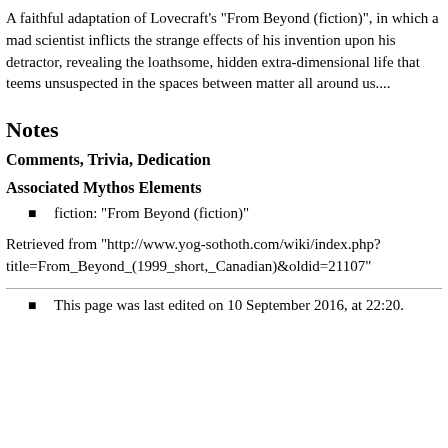A faithful adaptation of Lovecraft's "From Beyond (fiction)", in which a mad scientist inflicts the strange effects of his invention upon his detractor, revealing the loathsome, hidden extra-dimensional life that teems unsuspected in the spaces between matter all around us....
Notes
Comments, Trivia, Dedication
Associated Mythos Elements
fiction: "From Beyond (fiction)"
Retrieved from "http://www.yog-sothoth.com/wiki/index.php?title=From_Beyond_(1999_short,_Canadian)&oldid=21107"
This page was last edited on 10 September 2016, at 22:20.